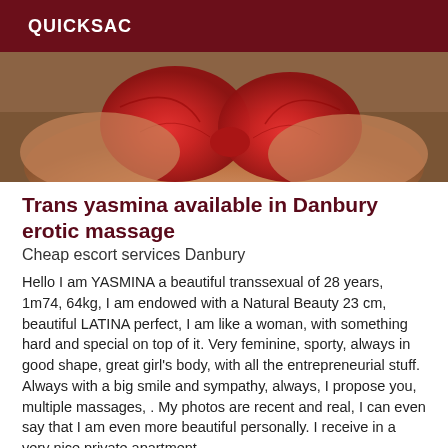QUICKSAC
[Figure (photo): Close-up photo of a person wearing a red bra, cropped to show chest area only, warm skin tones and brown background]
Trans yasmina available in Danbury erotic massage
Cheap escort services Danbury
Hello I am YASMINA a beautiful transsexual of 28 years, 1m74, 64kg, I am endowed with a Natural Beauty 23 cm, beautiful LATINA perfect, I am like a woman, with something hard and special on top of it. Very feminine, sporty, always in good shape, great girl's body, with all the entrepreneurial stuff. Always with a big smile and sympathy, always, I propose you, multiple massages, . My photos are recent and real, I can even say that I am even more beautiful personally. I receive in a very nice private apartment,